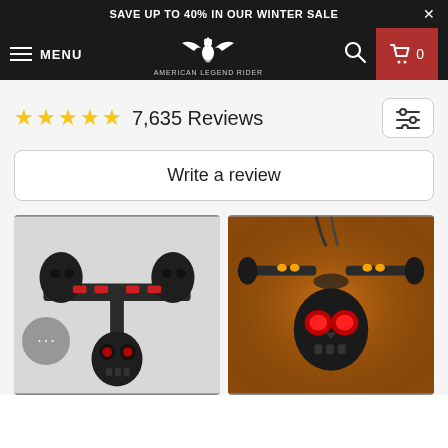SAVE UP TO 40% IN OUR WINTER SALE
[Figure (screenshot): Navigation bar with hamburger menu (MENU), American Legend Rider eagle logo, search icon, and cart button with 0 items]
7,635 Reviews
Write a review
[Figure (photo): Left photo: black skull motorcycle tail light assembly with red LED eyes on a grey background. Right photo: skull motorcycle light glowing with orange/amber LEDs on handlebars and red LED eyes in dark amber lighting.]